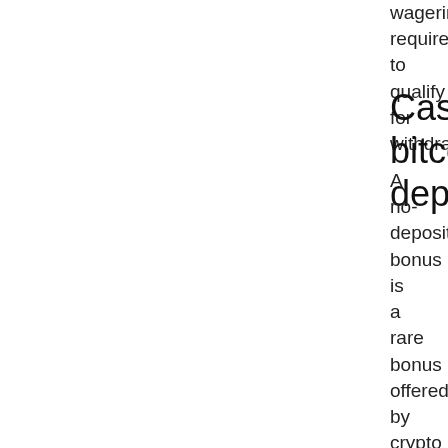wagering requirements to qualify for withdrawal.
Casino bitcoin deposit
A no-deposit bonus is a rare bonus offered by crypto and bitcoin casinos. Coinsaga new ; 06, fortunejack · fortunejack new 1 ; 07, ltc casino · ltc casino ; 08, trueflip casino. A no deposit bonus is a perfect way for a new player to trial a new online bitcoin casino. The casino bonus is awarded simply for registering a new account at. All new bitcoin and crypto casino no deposit slot machine play for free. To claim, you must sign up at the bitcoin casino. Allows you to deposit using 45+ banking options including crypto currencies. In regards to btc players, the maximum winnings that will be paid out resulting from a free bonus or free spins without deposit will be 15 mbtc. Every bitcoin deposit at this online casino receives a 10% boost. Unless you stumble across a no